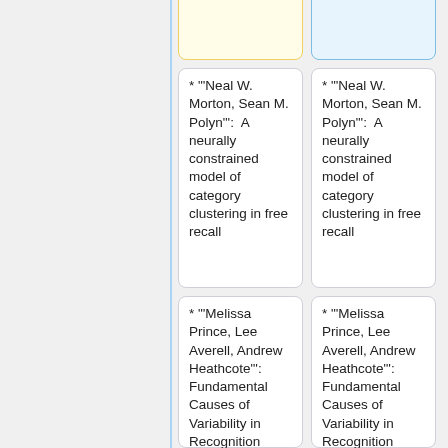The role of context in the retrieval practice effect
The role of context in the retrieval practice effect
* "'Neal W. Morton, Sean M. Polyn"': A neurally constrained model of category clustering in free recall
* "'Neal W. Morton, Sean M. Polyn"': A neurally constrained model of category clustering in free recall
* "'Melissa Prince, Lee Averell, Andrew Heathcote"': Fundamental Causes of Variability in Recognition Memory
* "'Melissa Prince, Lee Averell, Andrew Heathcote"': Fundamental Causes of Variability in Recognition Memory